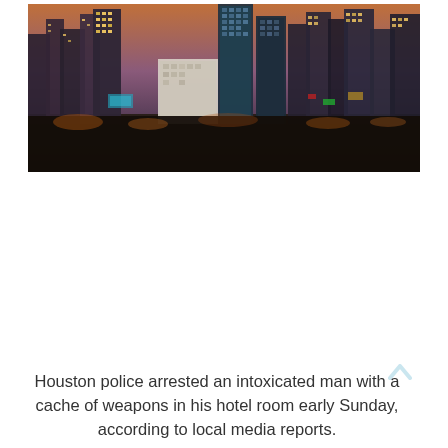[Figure (photo): Aerial dusk/night photograph of the Houston, Texas downtown skyline with illuminated skyscrapers and city streets in the foreground.]
Houston police arrested an intoxicated man with a cache of weapons in his hotel room early Sunday, according to local media reports.